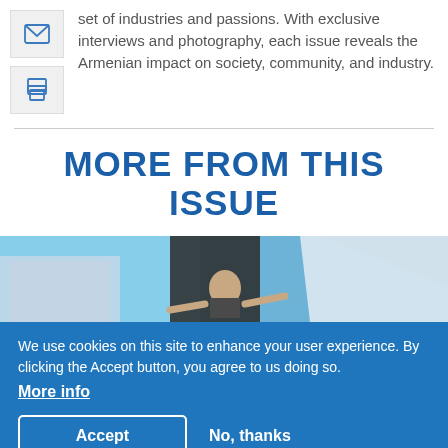set of industries and passions. With exclusive interviews and photography, each issue reveals the Armenian impact on society, community, and industry.
[Figure (illustration): Two icon boxes: envelope/email icon and printer icon, both on light gray backgrounds with blue outlines]
MORE FROM THIS ISSUE
[Figure (photo): Photo of a person looking upward, standing in an architectural setting with blue sky in the background]
We use cookies on this site to enhance your user experience. By clicking the Accept button, you agree to us doing so. More info
Accept
No, thanks